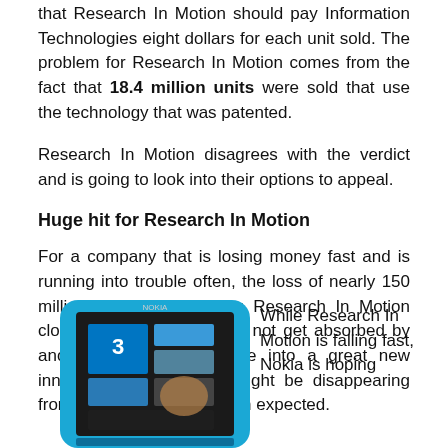that Research In Motion should pay Information Technologies eight dollars for each unit sold. The problem for Research In Motion comes from the fact that 18.4 million units were sold that use the technology that was patented.
Research In Motion disagrees with the verdict and is going to look into their options to appeal.
Huge hit for Research In Motion
For a company that is losing money fast and is running into trouble often, the loss of nearly 150 million dollars might bring Research In Motion closer to its end. If it does not get absorbed by another company or come into a great new innovation, BlackBerry's might be disappearing from the market sooner than expected.
[Figure (photo): Photo of a Nokia smartphone (cyan/blue color) showing a Windows Phone interface with tiles, including a number '3' tile]
While Research In Motion is falling fast, Nokia is hoping